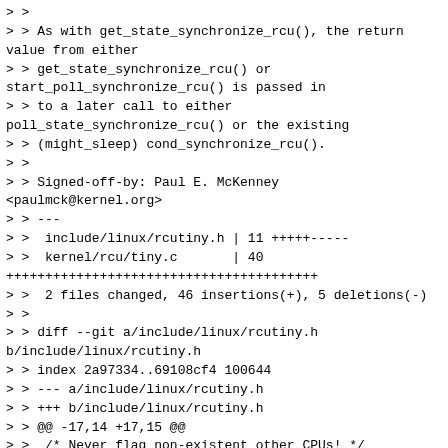> >
> > As with get_state_synchronize_rcu(), the return value from either
> > get_state_synchronize_rcu() or start_poll_synchronize_rcu() is passed in
> > to a later call to either poll_state_synchronize_rcu() or the existing
> > (might_sleep) cond_synchronize_rcu().
> >
> > Signed-off-by: Paul E. McKenney <paulmck@kernel.org>
> > ---
> >  include/linux/rcutiny.h | 11 +++++-----
> >  kernel/rcu/tiny.c       | 40 ++++++++++++++++++++++++++++++++++++++++
> >  2 files changed, 46 insertions(+), 5 deletions(-)
> >
> > diff --git a/include/linux/rcutiny.h b/include/linux/rcutiny.h
> > index 2a97334..69108cf4 100644
> > --- a/include/linux/rcutiny.h
> > +++ b/include/linux/rcutiny.h
> > @@ -17,14 +17,15 @@
> >  /* Never flag non-existent other CPUs! */
> >  static inline bool rcu_eqs_special_set(int cpu) { return false; }
> >
> > -static inline unsigned long get_state_synchronize_rcu(void)
> > -{